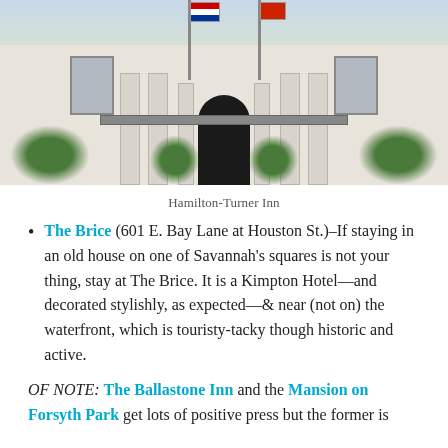[Figure (photo): Exterior facade of Hamilton-Turner Inn, a historic building with white columns, arched doorway, balcony with iron railing, American flag, and lush greenery.]
Hamilton-Turner Inn
The Brice (601 E. Bay Lane at Houston St.)–If staying in an old house on one of Savannah's squares is not your thing, stay at The Brice. It is a Kimpton Hotel—and decorated stylishly, as expected—& near (not on) the waterfront, which is touristy-tacky though historic and active.
OF NOTE: The Ballastone Inn and the Mansion on Forsyth Park get lots of positive press but the former is